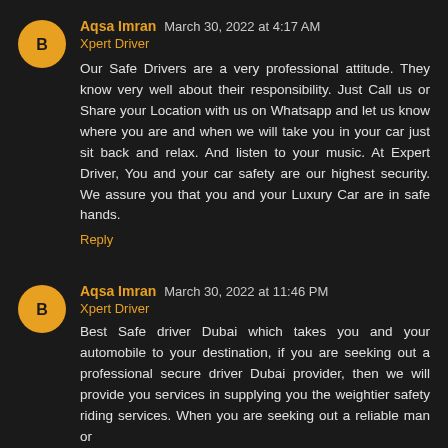Aqsa Imran  March 30, 2022 at 4:17 AM
Xpert Driver
Our Safe Drivers are a very professional attitude. They know very well about their responsibility. Just Call us or Share your Location with us on Whatsapp and let us know where you are and when we will take you in your car just sit back and relax. And listen to your music. At Expert Driver, You and your car safety are our highest security. We assure you that you and your Luxury Car are in safe hands.
Reply
Aqsa Imran  March 30, 2022 at 11:46 PM
Xpert Driver
Best Safe driver Dubai which takes you and your automobile to your destination, if you are seeking out a professional secure driver Dubai provider, then we will provide you services in supplying you the weightier safety riding services. When you are seeking out a reliable man or